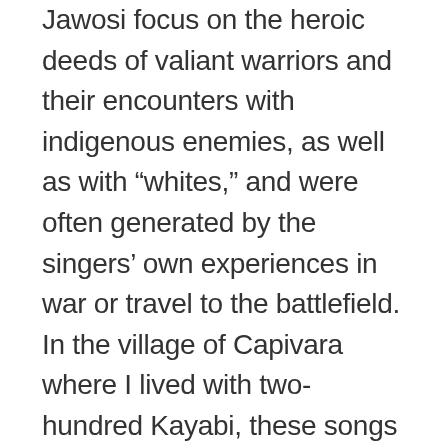Jawosi focus on the heroic deeds of valiant warriors and their encounters with indigenous enemies, as well as with “whites,” and were often generated by the singers’ own experiences in war or travel to the battlefield. In the village of Capivara where I lived with two-hundred Kayabi, these songs or “war stories” continue to be sung having been passed down through the generations. Even though there are no more wars or enemy heads, the Kayabi have returned to the ritual with a few substitutions (e.g., monkey skulls have replaced human skulls) in the context of a cultural renaissance, because they are afraid of losing touch with their